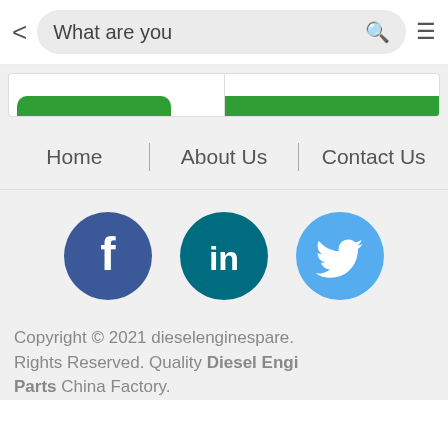< What are you [searching...] ≡
[Figure (screenshot): Partial green product/category cards at top of page content area]
Home | About Us | Contact Us
[Figure (infographic): Social media icons: Facebook, LinkedIn, Twitter]
Copyright © 2021 dieselenginespare. Rights Reserved. Quality Diesel Engine Parts China Factory.